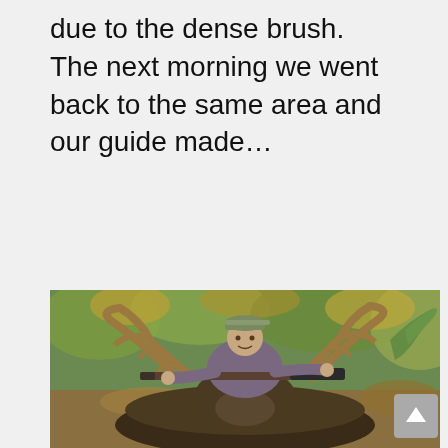due to the dense brush. The next morning we went back to the same area and our guide made…
[Figure (photo): A hunter in camouflage clothing and a cap kneels behind a harvested bull moose with large antlers, holding a scoped rifle, surrounded by autumn foliage and brush.]